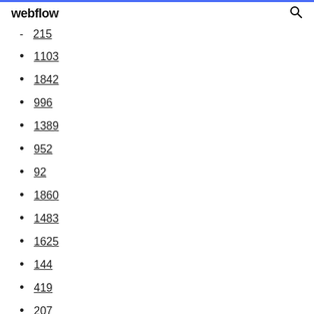webflow
215
1103
1842
996
1389
952
92
1860
1483
1625
144
419
207